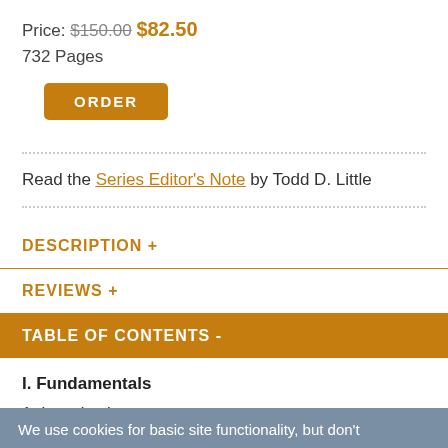Price: $150.00 $82.50
732 Pages
ORDER
Read the Series Editor's Note by Todd D. Little
DESCRIPTION +
REVIEWS +
TABLE OF CONTENTS -
I. Fundamentals
1. Introduction
We use cookies for basic site functionality, but don't